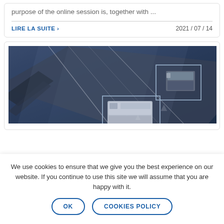purpose of the online session is, together with ...
LIRE LA SUITE ›
2021 / 07 / 14
[Figure (photo): Aerial/overhead view of vehicles on a road or bridge, with detection bounding boxes overlaid on two vehicles — one truck in upper right and one van/truck in lower center. The image appears to be a surveillance or computer vision demonstration in dark blue-grey tones.]
We use cookies to ensure that we give you the best experience on our website. If you continue to use this site we will assume that you are happy with it.
OK
COOKIES POLICY